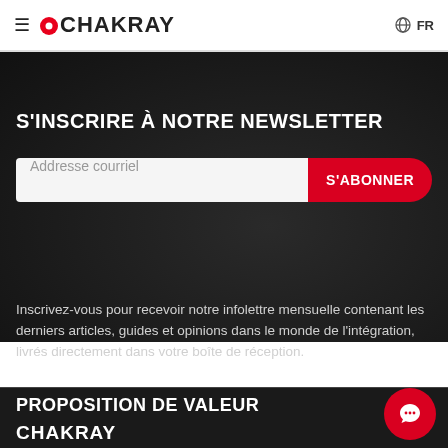≡ CHAKRAY   FR
S'INSCRIRE À NOTRE NEWSLETTER
Addresse courriel   S'ABONNER
Inscrivez-vous pour recevoir notre infolettre mensuelle contenant les derniers articles, guides et opinions dans le monde de l'intégration, livrés directement dans votre boîte de réception.
PROPOSITION DE VALEUR
CHAKRAY